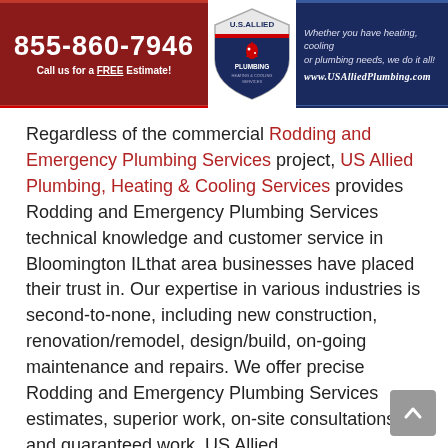[Figure (logo): US Allied Plumbing banner with phone number 855-860-7946, shield logo, tagline, and website URL www.USAlliedPlumbing.com]
Regardless of the commercial Rodding and Emergency Plumbing Services project, US Allied Plumbing, Heating & Cooling Services provides Rodding and Emergency Plumbing Services technical knowledge and customer service in Bloomington ILthat area businesses have placed their trust in. Our expertise in various industries is second-to-none, including new construction, renovation/remodel, design/build, on-going maintenance and repairs. We offer precise Rodding and Emergency Plumbing Services estimates, superior work, on-site consultations and guaranteed work. US Allied